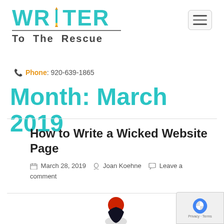[Figure (logo): Writer To The Rescue logo — teal/cyan bold text 'WRITER' with a pencil icon replacing the letter I, underline, and subtitle 'To The Rescue' in dark gray bold text]
[Figure (other): Hamburger menu button (three horizontal lines) in a rounded rectangle border]
📞 Phone: 920-639-1865
Month: March 2019
How to Write a Wicked Website Page
March 28, 2019  Joan Koehne  Leave a comment
[Figure (photo): Partial image of a person or figurine at the bottom of the page]